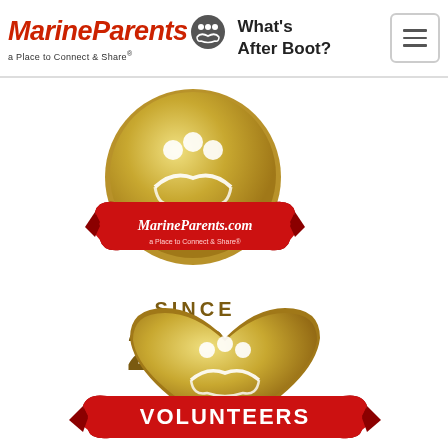[Figure (logo): MarineParents logo with red italic text, connected people icon, tagline 'a Place to Connect & Share' and 'What's After Boot?' text, plus hamburger menu button]
[Figure (illustration): MarineParents.com circular gold badge with connected people symbol and red ribbon banner reading 'MarineParents.com a Place to Connect & Share', with text 'SINCE 2003' below in gold]
[Figure (illustration): Gold heart-shaped badge with connected people symbol, and red ribbon banner at bottom reading 'VOLUNTEERS']